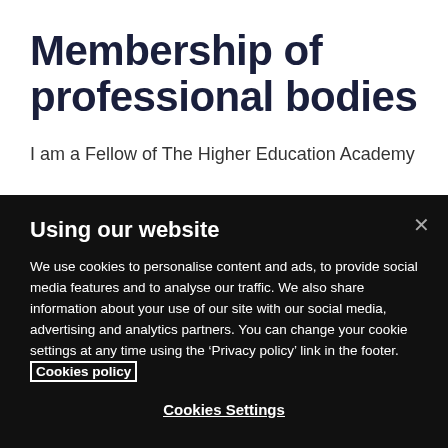Membership of professional bodies
I am a Fellow of The Higher Education Academy
Using our website
We use cookies to personalise content and ads, to provide social media features and to analyse our traffic. We also share information about your use of our site with our social media, advertising and analytics partners. You can change your cookie settings at any time using the ‘Privacy policy’ link in the footer. Cookies policy
Cookies Settings